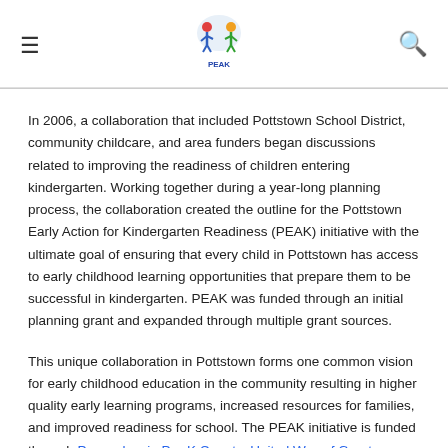[PEAK logo and navigation bar with hamburger menu and search icon]
In 2006, a collaboration that included Pottstown School District, community childcare, and area funders began discussions related to improving the readiness of children entering kindergarten. Working together during a year-long planning process, the collaboration created the outline for the Pottstown Early Action for Kindergarten Readiness (PEAK) initiative with the ultimate goal of ensuring that every child in Pottstown has access to early childhood learning opportunities that prepare them to be successful in kindergarten. PEAK was funded through an initial planning grant and expanded through multiple grant sources.
This unique collaboration in Pottstown forms one common vision for early childhood education in the community resulting in higher quality early learning programs, increased resources for families, and improved readiness for school. The PEAK initiative is funded through Pennsylvania Pre-K Counts, United Way of Greater Philadelphia and Southern New Jersey,